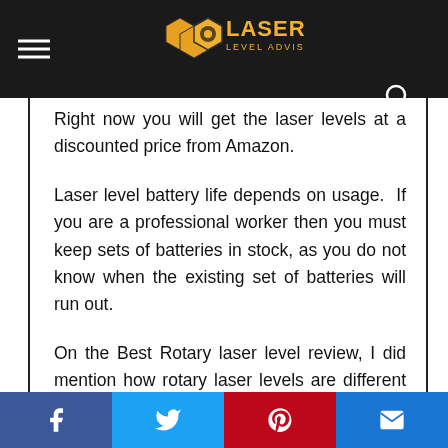Laser Level Advisor
Right now you will get the laser levels at a discounted price from Amazon.
Laser level battery life depends on usage. If you are a professional worker then you must keep sets of batteries in stock, as you do not know when the existing set of batteries will run out.
On the Best Rotary laser level review, I did mention how rotary laser levels are different than self-leveling laser levels. Rotary laser levels do run on rechargeable batteries. Some
Facebook Twitter Pinterest Email